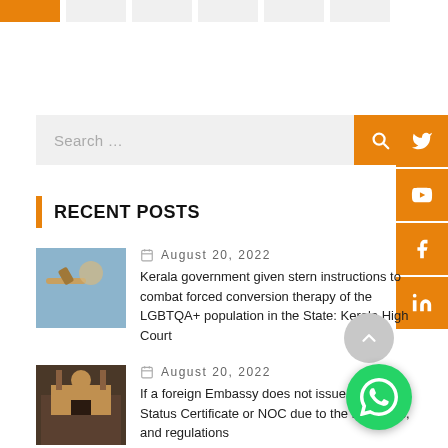[Figure (screenshot): Navigation tabs at top - first tab is orange/active, rest are light gray]
[Figure (screenshot): Search bar input field with placeholder text 'Search ...' and orange search button]
[Figure (screenshot): Social media sidebar buttons: Twitter, YouTube, Facebook, LinkedIn - all orange]
RECENT POSTS
August 20, 2022
Kerala government given stern instructions to combat forced conversion therapy of the LGBTQA+ population in the State: Kerala High Court
August 20, 2022
If a foreign Embassy does not issue a Single Status Certificate or NOC due to the law, rules, and regulations